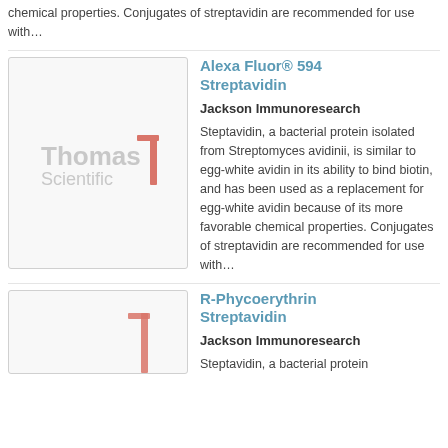chemical properties. Conjugates of streptavidin are recommended for use with...
[Figure (photo): Thomas Scientific logo placeholder image for Alexa Fluor 594 Streptavidin product]
Alexa Fluor® 594 Streptavidin
Jackson Immunoresearch
Steptavidin, a bacterial protein isolated from Streptomyces avidinii, is similar to egg-white avidin in its ability to bind biotin, and has been used as a replacement for egg-white avidin because of its more favorable chemical properties. Conjugates of streptavidin are recommended for use with...
[Figure (photo): Thomas Scientific logo placeholder image for R-Phycoerythrin Streptavidin product (partially visible)]
R-Phycoerythrin Streptavidin
Jackson Immunoresearch
Steptavidin, a bacterial protein